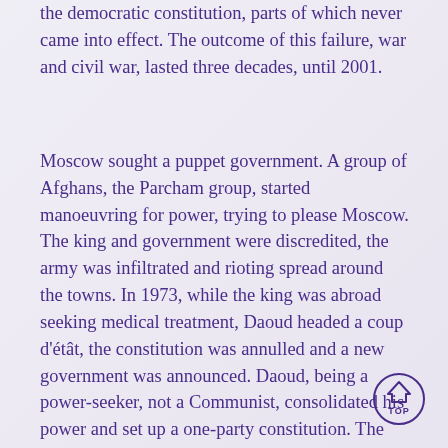the democratic constitution, parts of which never came into effect. The outcome of this failure, war and civil war, lasted three decades, until 2001.
Moscow sought a puppet government. A group of Afghans, the Parcham group, started manoeuvring for power, trying to please Moscow. The king and government were discredited, the army was infiltrated and rioting spread around the towns. In 1973, while the king was abroad seeking medical treatment, Daoud headed a coup d'étât, the constitution was annulled and a new government was announced. Daoud, being a power-seeker, not a Communist, consolidated his power and set up a one-party constitution. The Soviets withdrew their support.
[Figure (other): A circular 'TOP' navigation button with an upward-pointing house/arrow icon inside a circle.]